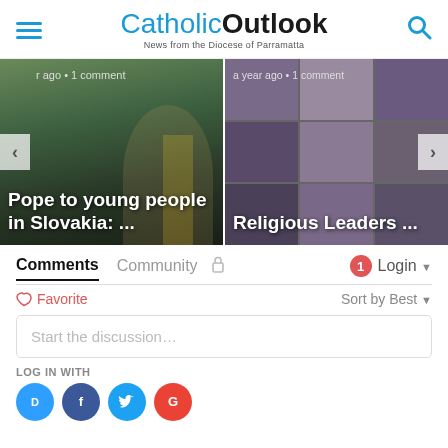CatholicOutlook — News from the Diocese of Parramatta
[Figure (screenshot): News article slider showing two articles: 'Pope to young people in Slovakia: ...' (a year ago, 1 comment) and 'Religious Leaders ...' (a year ago, 1 comment), with left and right navigation arrows]
Comments
Community  🔒   1  Login ▾
♡ Favorite   Sort by Best ▾
Start the discussion…
LOG IN WITH
[Figure (infographic): Four social login icons: Disqus (blue), Facebook (dark blue), Twitter (light blue), Google (red)]